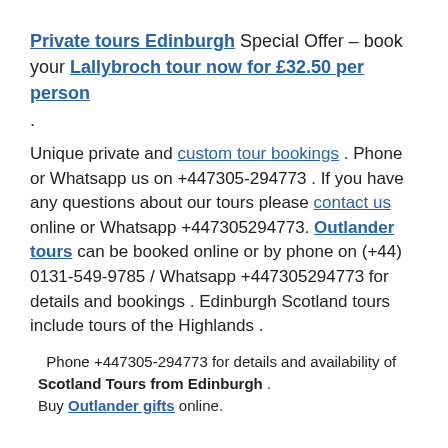Private tours Edinburgh Special Offer – book your Lallybroch tour now for £32.50 per person .
Unique private and custom tour bookings . Phone or Whatsapp us on +447305-294773 . If you have any questions about our tours please contact us online or Whatsapp +447305294773. Outlander tours can be booked online or by phone on (+44) 0131-549-9785 / Whatsapp +447305294773 for details and bookings . Edinburgh Scotland tours include tours of the Highlands .
Phone +447305-294773 for details and availability of Scotland Tours from Edinburgh . Buy Outlander gifts online.